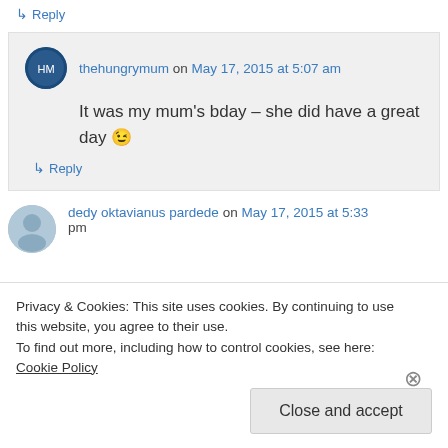↳ Reply
thehungrymum on May 17, 2015 at 5:07 am
It was my mum's bday – she did have a great day 😉
↳ Reply
dedy oktavianus pardede on May 17, 2015 at 5:33 pm
Privacy & Cookies: This site uses cookies. By continuing to use this website, you agree to their use. To find out more, including how to control cookies, see here: Cookie Policy
Close and accept